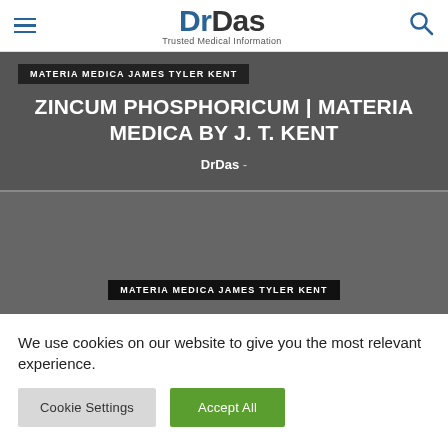DrDas - Trusted Medical Information
MATERIA MEDICA JAMES TYLER KENT
ZINCUM PHOSPHORICUM | MATERIA MEDICA BY J. T. KENT
DrDas -
MATERIA MEDICA JAMES TYLER KENT
We use cookies on our website to give you the most relevant experience.